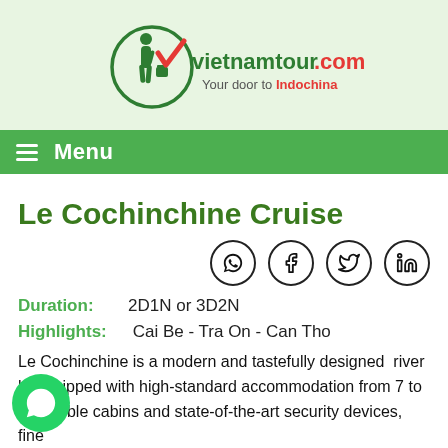[Figure (logo): vietnamtour.com.vn logo with traveler silhouette, green circle, red checkmark, and tagline 'Your door to Indochina']
Menu
Le Cochinchine Cruise
[Figure (infographic): Social share icons: WhatsApp, Facebook, Twitter, LinkedIn]
Duration:   2D1N or 3D2N
Highlights:   Cai Be - Tra On - Can Tho
Le Cochinchine is a modern and tastefully designed  river b...quipped with high-standard accommodation from 7 to 1...ouble cabins and state-of-the-art security devices, fine